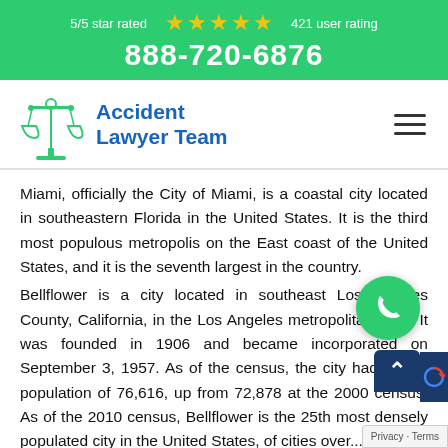5/5 star rated ★★★★★ 421 user rating
888-720-6876
[Figure (logo): Accident Lawyer Team logo with scales of justice icon and blue text]
Miami, officially the City of Miami, is a coastal city located in southeastern Florida in the United States. It is the third most populous metropolis on the East coast of the United States, and it is the seventh largest in the country.
Bellflower is a city located in southeast Los Angeles County, California, in the Los Angeles metropolitan area. It was founded in 1906 and became incorporated on September 3, 1957. As of the census, the city had a total population of 76,616, up from 72,878 at the 2000 census. As of the 2010 census, Bellflower is the 25th most densely populated city in the United States, of cities over...